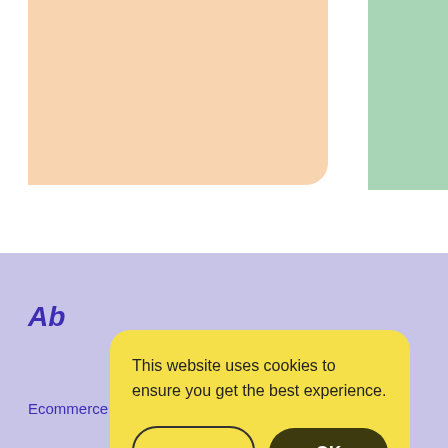[Figure (screenshot): Peach-colored rounded card (partial, top-left) from a review/testimonial section]
can fully tr
recommen
team EP!
[Figure (screenshot): Green rounded button: More reviews on Trustpilot with star icon]
This website uses cookies to ensure you get the best experience.
Learn more
OK
Ab
Ecommerce Platforms is a review site that shows the